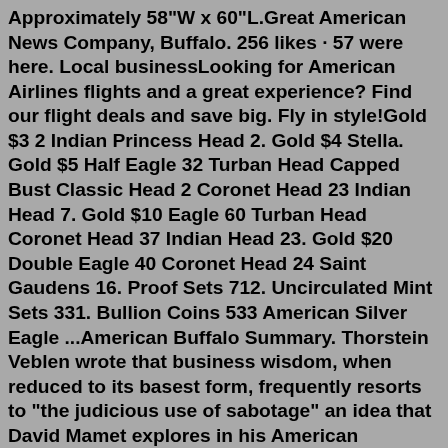Approximately 58"W x 60"L.Great American News Company, Buffalo. 256 likes · 57 were here. Local businessLooking for American Airlines flights and a great experience? Find our flight deals and save big. Fly in style!Gold $3 2 Indian Princess Head 2. Gold $4 Stella. Gold $5 Half Eagle 32 Turban Head Capped Bust Classic Head 2 Coronet Head 23 Indian Head 7. Gold $10 Eagle 60 Turban Head Coronet Head 37 Indian Head 23. Gold $20 Double Eagle 40 Coronet Head 24 Saint Gaudens 16. Proof Sets 712. Uncirculated Mint Sets 331. Bullion Coins 533 American Silver Eagle ...American Buffalo Summary. Thorstein Veblen wrote that business wisdom, when reduced to its basest form, frequently resorts to "the judicious use of sabotage" an idea that David Mamet explores in his American Buffalo.First performed in Chicago in 1975, the play made its way to Broadway in 1977, Although Mamet had already achieved some success with his Sexual Perversity in Chicago (1972) the ...WILLIAMSVILLE, N.Y. (WIVB) — The